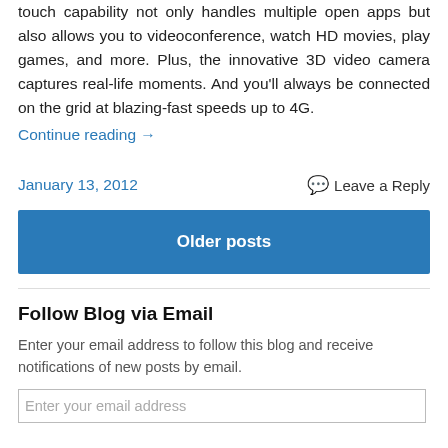touch capability not only handles multiple open apps but also allows you to videoconference, watch HD movies, play games, and more. Plus, the innovative 3D video camera captures real-life moments. And you'll always be connected on the grid at blazing-fast speeds up to 4G.
Continue reading →
January 13, 2012
Leave a Reply
Older posts
Follow Blog via Email
Enter your email address to follow this blog and receive notifications of new posts by email.
Enter your email address